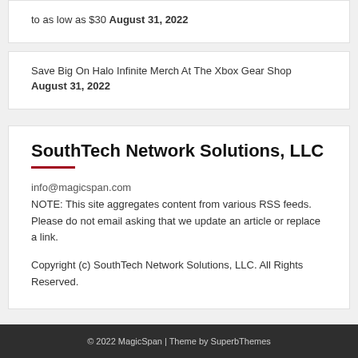to as low as $30 August 31, 2022
Save Big On Halo Infinite Merch At The Xbox Gear Shop August 31, 2022
SouthTech Network Solutions, LLC
info@magicspan.com
NOTE: This site aggregates content from various RSS feeds. Please do not email asking that we update an article or replace a link.
Copyright (c) SouthTech Network Solutions, LLC. All Rights Reserved.
© 2022 MagicSpan | Theme by SuperbThemes